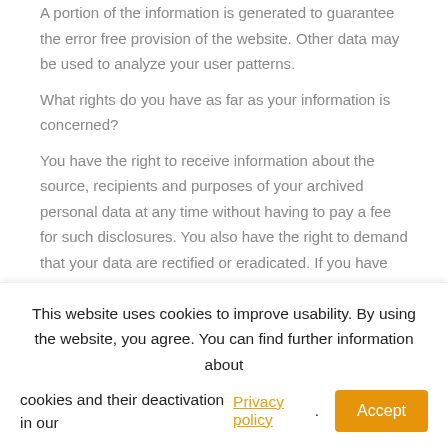A portion of the information is generated to guarantee the error free provision of the website. Other data may be used to analyze your user patterns.
What rights do you have as far as your information is concerned?
You have the right to receive information about the source, recipients and purposes of your archived personal data at any time without having to pay a fee for such disclosures. You also have the right to demand that your data are rectified or eradicated. If you have consented to data processing, you have the option to revoke this consent at any time, which shall affect all
This website uses cookies to improve usability. By using the website, you agree. You can find further information about cookies and their deactivation in our Privacy policy. Accept